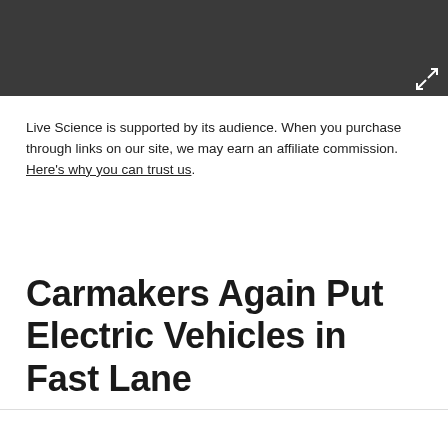[Figure (other): Dark gray header banner area at top of page with an expand/fullscreen icon in the bottom-right corner]
Live Science is supported by its audience. When you purchase through links on our site, we may earn an affiliate commission. Here's why you can trust us.
Carmakers Again Put Electric Vehicles in Fast Lane